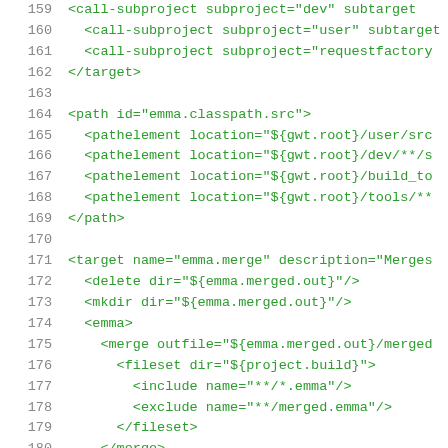159   <call-subproject subproject="dev" subtarget...
160   <call-subproject subproject="user" subtarget...
161   <call-subproject subproject="requestfactory...
162   </target>
163
164   <path id="emma.classpath.src">
165   <pathelement location="${gwt.root}/user/src...
166   <pathelement location="${gwt.root}/dev/**/s...
167   <pathelement location="${gwt.root}/build_to...
168   <pathelement location="${gwt.root}/tools/**...
169   </path>
170
171   <target name="emma.merge" description="Merges...
172   <delete dir="${emma.merged.out}"/>
173   <mkdir dir="${emma.merged.out}"/>
174   <emma>
175   <merge outfile="${emma.merged.out}/merged...
176   <fileset dir="${project.build}">
177   <include name="**/*.emma"/>
178   <exclude name="**/merged.emma"/>
179   </fileset>
180   </merge>